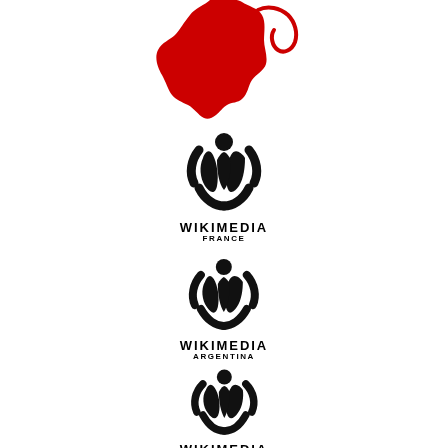[Figure (logo): Partial red silhouette/map shape at top of page, partially cropped]
[Figure (logo): Wikimedia Foundation logo (person with raised arms inside circular arcs) with text WIKIMEDIA FRANCE below]
[Figure (logo): Wikimedia Foundation logo (person with raised arms inside circular arcs) with text WIKIMEDIA ARGENTINA below]
[Figure (logo): Wikimedia Foundation logo (person with raised arms inside circular arcs) with text WIKIMEDIA УКРАЇНА below]